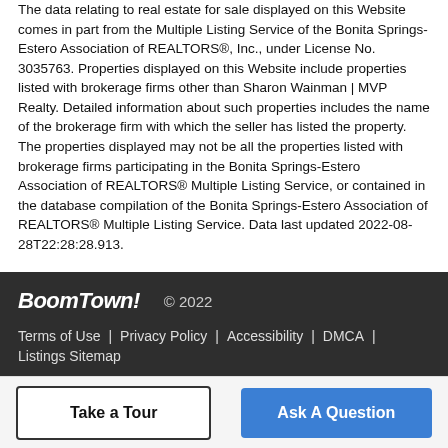The data relating to real estate for sale displayed on this Website comes in part from the Multiple Listing Service of the Bonita Springs-Estero Association of REALTORS®, Inc., under License No. 3035763. Properties displayed on this Website include properties listed with brokerage firms other than Sharon Wainman | MVP Realty. Detailed information about such properties includes the name of the brokerage firm with which the seller has listed the property. The properties displayed may not be all the properties listed with brokerage firms participating in the Bonita Springs-Estero Association of REALTORS® Multiple Listing Service, or contained in the database compilation of the Bonita Springs-Estero Association of REALTORS® Multiple Listing Service. Data last updated 2022-08-28T22:28:28.913.
BoomTown! © 2022 | Terms of Use | Privacy Policy | Accessibility | DMCA | Listings Sitemap